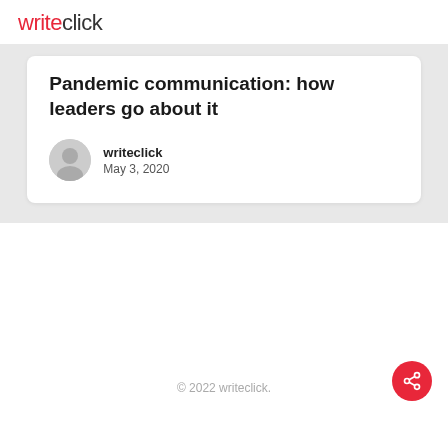writeclick
Pandemic communication: how leaders go about it
writeclick
May 3, 2020
© 2022 writeclick.